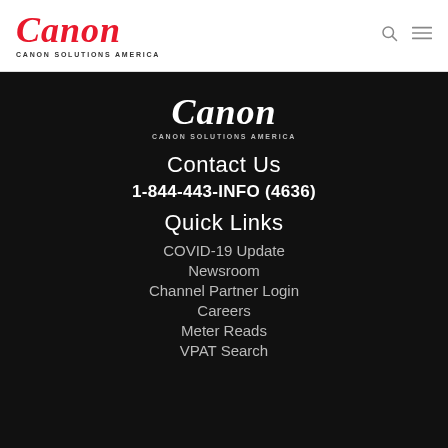Canon CANON SOLUTIONS AMERICA
[Figure (logo): Canon Solutions America white logo on dark background]
Contact Us
1-844-443-INFO (4636)
Quick Links
COVID-19 Update
Newsroom
Channel Partner Login
Careers
Meter Reads
VPAT Search